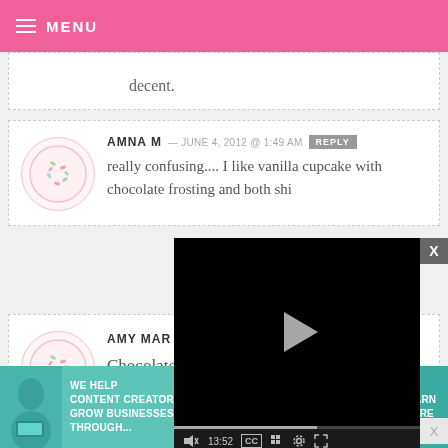≡ MENU
decent.
AMNA M — JUNE 4, 2012 @ 1:49 AM REPLY
really confusing.... I like vanilla cupcake with chocolate frosting and both shi
AMY MAR
Chocolate for sure!
[Figure (screenshot): Video player overlay showing a black video screen with a play button triangle and controls showing 13:52 duration, mute, CC, grid, settings, and fullscreen buttons]
[Figure (infographic): Advertisement banner: WE HELP CONTENT CREATORS GROW BUSINESSES THROUGH... with SHE PARTNER NETWORK branding and LEARN MORE button]